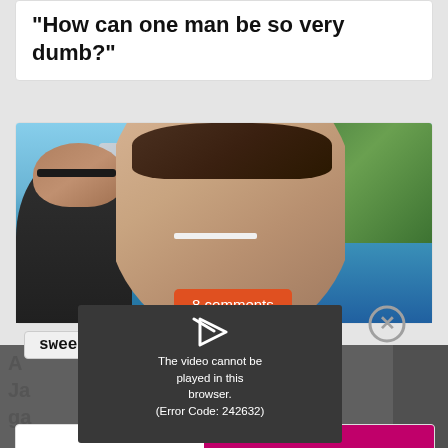“How can one man be so very dumb?”
[Figure (photo): Photo of a young man smiling at camera on a boat or waterfront, with another person wearing sunglasses partially visible on the left. Blue sky and water/trees in the background. An orange speech bubble overlaid reads '8 comments' and below the photo is a 'sweet' label.]
8 comments
sweet
[Figure (screenshot): Video player error overlay on dark gray background reading 'The video cannot be played in this browser. (Error Code: 242632)' with a white play icon and a circular X close button.]
The video cannot be played in this browser. (Error Code: 242632)